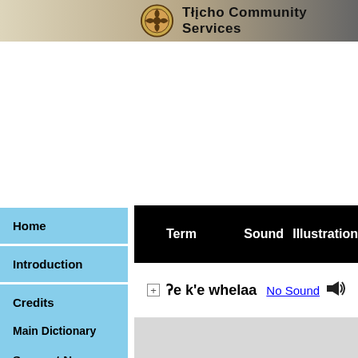Tłįcho Community Services
Home
Introduction
Credits
Main Dictionary
Suggest New
| Term | Sound | Illustration |
| --- | --- | --- |
| ʔe k'e whelaa | No Sound |  |